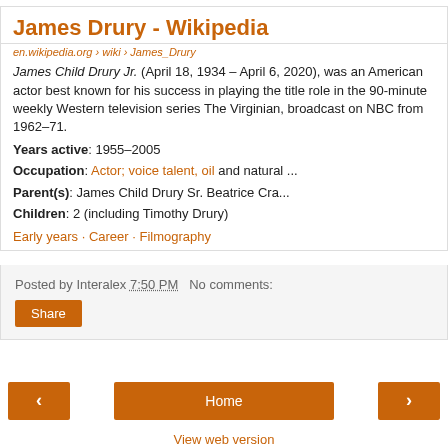James Drury - Wikipedia
en.wikipedia.org › wiki › James_Drury
James Child Drury Jr. (April 18, 1934 – April 6, 2020), was an American actor best known for his success in playing the title role in the 90-minute weekly Western television series The Virginian, broadcast on NBC from 1962–71.
Years active: 1955–2005
Occupation: Actor; voice talent, oil and natural ...
Parent(s): James Child Drury Sr. Beatrice Cra...
Children: 2 (including Timothy Drury)
Early years · Career · Filmography
Posted by Interalex 7:50 PM   No comments:
Share
Home
View web version